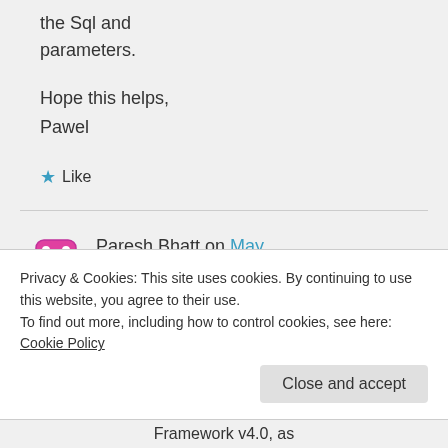the Sql and parameters.
Hope this helps,
Pawel
★ Like
Paresh Bhatt on May 18, 2014 at 11:42 pm
Privacy & Cookies: This site uses cookies. By continuing to use this website, you agree to their use.
To find out more, including how to control cookies, see here: Cookie Policy
Close and accept
Framework v4.0, as